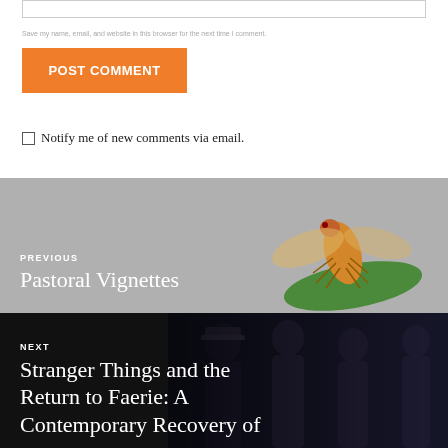[input box]
Save my name, email, and website in this browser for the next time I comment.
POST COMMENT
Notify me of new comments via email.
[Figure (illustration): Navigation block with illustrated cicada on a green leaf against grey background, labeled PREVIOUS with title Pastoral Vignettes]
PREVIOUS
Pastoral Vignettes
[Figure (photo): Navigation block with dark photo of young people looking startled, labeled NEXT with title Stranger Things and the Return to Faerie: A Contemporary Recovery of]
NEXT
Stranger Things and the Return to Faerie: A Contemporary Recovery of